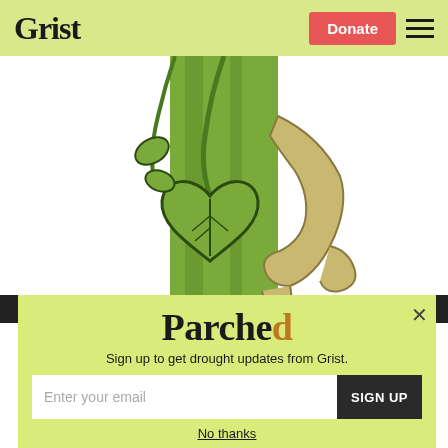Grist | Donate
[Figure (illustration): Illustration of a green cartoon hand/arm holding a green heart-shaped leaf attached to a green tree trunk, close-up view with white background]
Parched
Sign up to get drought updates from Grist.
Enter your email | SIGN UP
No thanks